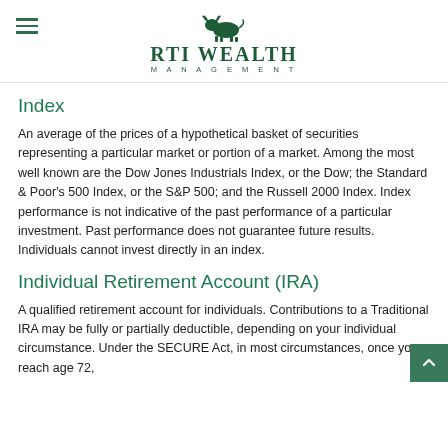RTI WEALTH MANAGEMENT
Index
An average of the prices of a hypothetical basket of securities representing a particular market or portion of a market. Among the most well known are the Dow Jones Industrials Index, or the Dow; the Standard & Poor's 500 Index, or the S&P 500; and the Russell 2000 Index. Index performance is not indicative of the past performance of a particular investment. Past performance does not guarantee future results. Individuals cannot invest directly in an index.
Individual Retirement Account (IRA)
A qualified retirement account for individuals. Contributions to a Traditional IRA may be fully or partially deductible, depending on your individual circumstance. Under the SECURE Act, in most circumstances, once you reach age 72,